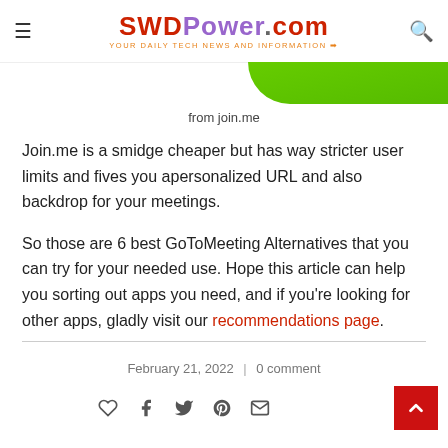SWDPower.com — YOUR DAILY TECH NEWS AND INFORMATION
[Figure (illustration): Green curved shape from join.me, partially visible at top right]
from join.me
Join.me is a smidge cheaper but has way stricter user limits and fives you apersonalized URL and also backdrop for your meetings.
So those are 6 best GoToMeeting Alternatives that you can try for your needed use. Hope this article can help you sorting out apps you need, and if you're looking for other apps, gladly visit our recommendations page.
February 21, 2022 | 0 comment